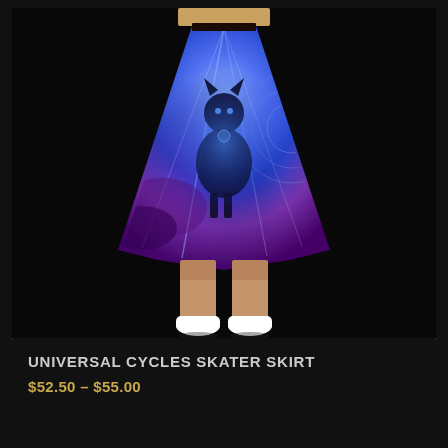[Figure (photo): A model wearing a skater skirt with a vivid cosmic/psychedelic wolf print in blues and purples. The skirt flares out at the waist. The model's legs are visible below the skirt hem, wearing white sneakers. Background is black.]
UNIVERSAL CYCLES SKATER SKIRT
$52.50 – $55.00